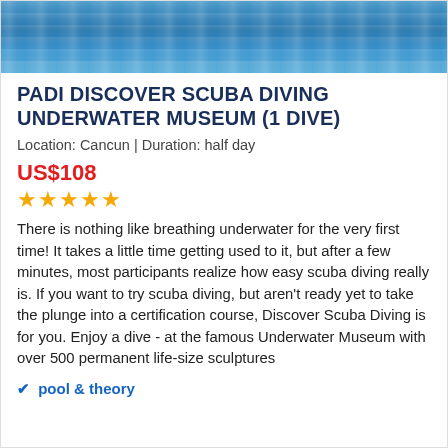[Figure (photo): Aerial/surface view of blue ocean water with ripples and light reflections]
PADI DISCOVER SCUBA DIVING UNDERWATER MUSEUM (1 DIVE)
Location: Cancun | Duration: half day
US$108
★★★★★
There is nothing like breathing underwater for the very first time! It takes a little time getting used to it, but after a few minutes, most participants realize how easy scuba diving really is. If you want to try scuba diving, but aren't ready yet to take the plunge into a certification course, Discover Scuba Diving is for you. Enjoy a dive - at the famous Underwater Museum with over 500 permanent life-size sculptures
pool & theory